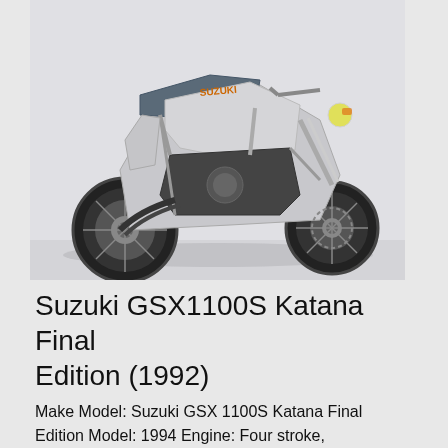[Figure (photo): Suzuki GSX1100S Katana Final Edition motorcycle in silver/white color, side profile view on white background]
Suzuki GSX1100S Katana Final Edition (1992)
Make Model: Suzuki GSX 1100S Katana Final Edition Model: 1994 Engine: Four stroke,
[Figure (illustration): Advertisement banner by Jurga Creations showing detailed pencil/ink illustrations of an owl and a lion face on dark background, with a yellow 'See More Art' button and Jurga Creations logo]